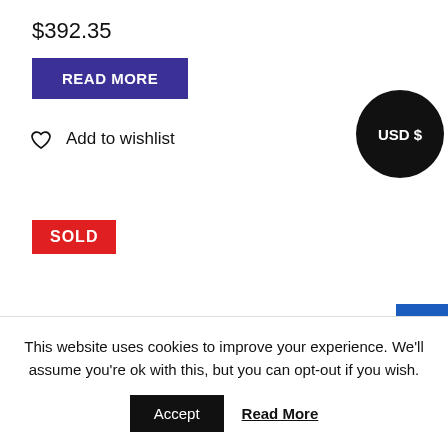$392.35
READ MORE
Add to wishlist
USD $
SOLD
[Figure (photo): Top portion of a dark coin or medallion with spider web design, shown cropped at the bottom of the page]
This website uses cookies to improve your experience. We'll assume you're ok with this, but you can opt-out if you wish.
Accept
Read More